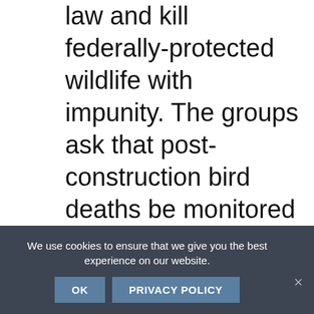law and kill federally-protected wildlife with impunity. The groups ask that post-construction bird deaths be monitored independently (by a third party) to accurately assess wildlife mortality.

The letter continues: “How will the FWS assess and take into account the cumulative impact
[Figure (other): Left sidebar with two black square buttons: a contrast toggle icon (half-filled circle) and a text size toggle (T with smaller T)]
We use cookies to ensure that we give you the best experience on our website.
OK   PRIVACY POLICY